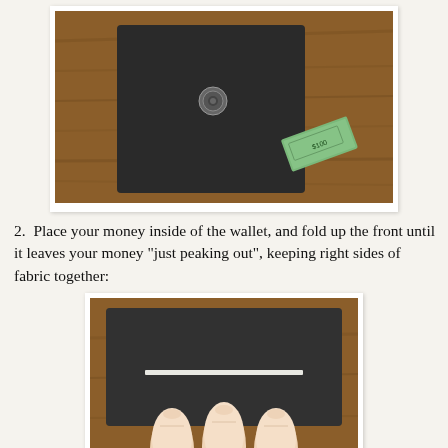[Figure (photo): A dark charcoal/black square piece of felt fabric lying flat on a wooden table. At the upper center of the fabric is a metal snap button. To the right of the fabric is a folded US dollar bill.]
2.  Place your money inside of the wallet, and fold up the front until it leaves your money "just peaking out", keeping right sides of fabric together:
[Figure (photo): A dark charcoal felt wallet folded, held down by three fingers at the bottom. A white strip (the edge of a dollar bill) peeks out near the middle of the wallet, showing just above the fold.]